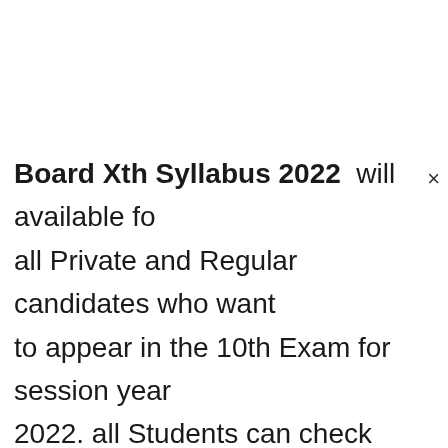Board Xth Syllabus 2022 will available for all Private and Regular candidates who want to appear in the 10th Exam for session year 2022. all Students can check their GBSHSE SSC New Syllabus 2022 from this page. The Goa Board 10th Class Syllabus 2022 will be uploaded on the official website www.gbshse.gov.in. Here our team members will be updated Goa 10th Syllabus 2022 from given below table after it official